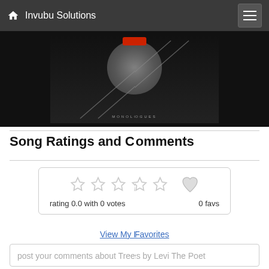Invubu Solutions
[Figure (photo): Album art for Monologues by Levi The Poet — grayscale image with circular motif and crossed lines, red button element at top, text 'MONOLOGUES' at bottom]
Song Ratings and Comments
rating 0.0 with 0 votes   0 favs
View My Favorites
post your comments about Trees by Levi The Poet